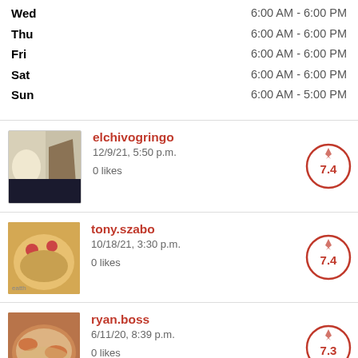| Day | Hours |
| --- | --- |
| Wed | 6:00 AM - 6:00 PM |
| Thu | 6:00 AM - 6:00 PM |
| Fri | 6:00 AM - 6:00 PM |
| Sat | 6:00 AM - 6:00 PM |
| Sun | 6:00 AM - 5:00 PM |
elchivogringo
12/9/21, 5:50 p.m.
0 likes
Score: 7.4
tony.szabo
10/18/21, 3:30 p.m.
0 likes
Score: 7.4
ryan.boss
6/11/20, 8:39 p.m.
0 likes
Score: 7.3
chris.abbott